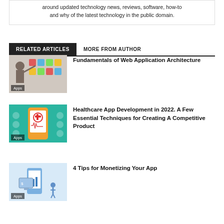around updated technology news, reviews, software, how-to and why of the latest technology in the public domain.
RELATED ARTICLES   MORE FROM AUTHOR
[Figure (photo): Man pointing at mobile app interface on wall, web application architecture illustration]
Fundamentals of Web Application Architecture
[Figure (photo): Healthcare app development illustration with phone showing medical cross icon on teal background]
Healthcare App Development in 2022. A Few Essential Techniques for Creating A Competitive Product
[Figure (photo): App monetization illustration with phone and charts on light blue background]
4 Tips for Monetizing Your App